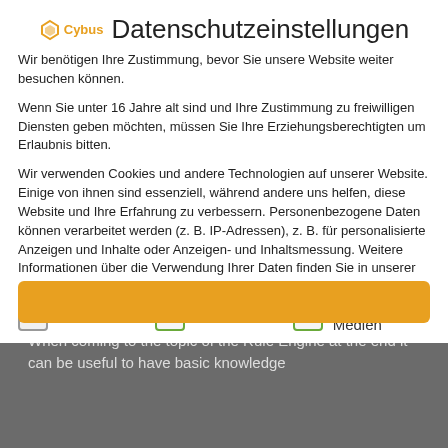Cybus Datenschutzeinstellungen
Wir benötigen Ihre Zustimmung, bevor Sie unsere Website weiter besuchen können.
Wenn Sie unter 16 Jahre alt sind und Ihre Zustimmung zu freiwilligen Diensten geben möchten, müssen Sie Ihre Erziehungsberechtigten um Erlaubnis bitten.
Wir verwenden Cookies und andere Technologien auf unserer Website. Einige von ihnen sind essenziell, während andere uns helfen, diese Website und Ihre Erfahrung zu verbessern. Personenbezogene Daten können verarbeitet werden (z. B. IP-Adressen), z. B. für personalisierte Anzeigen und Inhalte oder Anzeigen- und Inhaltsmessung. Weitere Informationen über die Verwendung Ihrer Daten finden Sie in unserer
Essenziell
Statistiken
Externe Medien
with it. If in doubt, head over to our MQTT Basics lesson. When coming to the topic of the Rule Engine at the end it can be useful to have basic knowledge